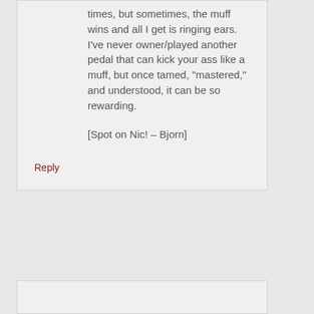times, but sometimes, the muff wins and all I get is ringing ears. I've never owner/played another pedal that can kick your ass like a muff, but once tamed, “mastered,” and understood, it can be so rewarding.
[Spot on Nic! – Bjorn]
Reply